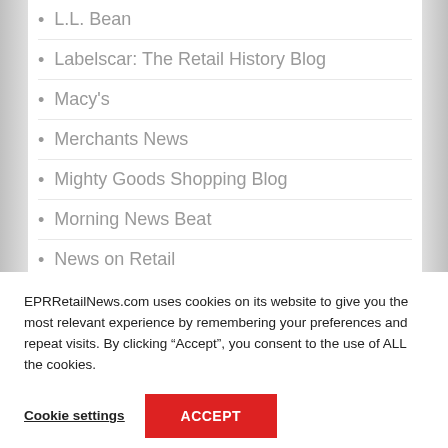L.L. Bean
Labelscar: The Retail History Blog
Macy's
Merchants News
Mighty Goods Shopping Blog
Morning News Beat
News on Retail
Oleg Lazarov
EPRRetailNews.com uses cookies on its website to give you the most relevant experience by remembering your preferences and repeat visits. By clicking “Accept”, you consent to the use of ALL the cookies.
Cookie settings  ACCEPT